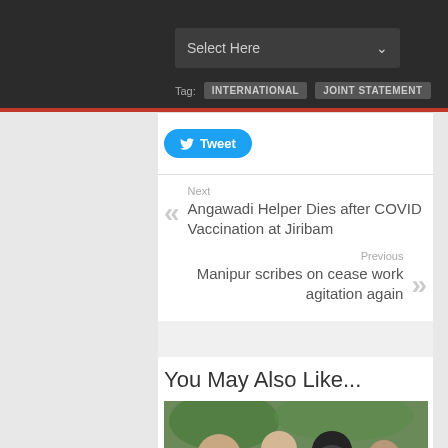Select Here
Tag: INTERNATIONAL  JOINT STATEMENT
[Figure (screenshot): Tweet button - blue rounded button with Twitter bird icon and text 'Tweet']
Next
Angawadi Helper Dies after COVID Vaccination at Jiribam
Previous
Manipur scribes on cease work agitation again
You May Also Like...
[Figure (photo): Photo of people wearing black face masks, outdoor setting. Caption: 'Thai court sentences a Thai man to ...']